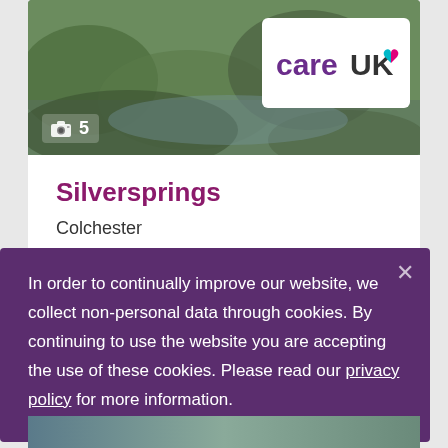[Figure (photo): Hero image of garden/nature scene with green foliage and water, with a camera icon and '5' photo count badge, and Care UK logo in white box overlay]
Silversprings
Colchester
Silversprings care home delivers a range of quality care for older people. There's
In order to continually improve our website, we collect non-personal data through cookies. By continuing to use the website you are accepting the use of these cookies. Please read our privacy policy for more information.
[Figure (photo): Partially visible image at bottom of page]